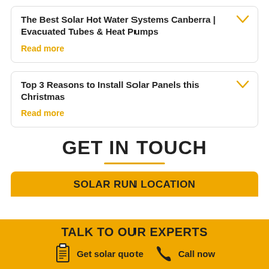The Best Solar Hot Water Systems Canberra | Evacuated Tubes & Heat Pumps
Read more
Top 3 Reasons to Install Solar Panels this Christmas
Read more
GET IN TOUCH
SOLAR RUN LOCATION
TALK TO OUR EXPERTS
Get solar quote
Call now